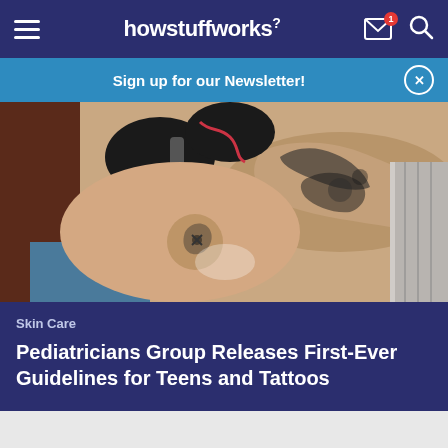howstuffworks
Sign up for our Newsletter!
[Figure (photo): A tattoo artist wearing black gloves applies a tattoo to a person's skin using a tattoo machine. The artist's arm is heavily tattooed.]
Skin Care
Pediatricians Group Releases First-Ever Guidelines for Teens and Tattoos